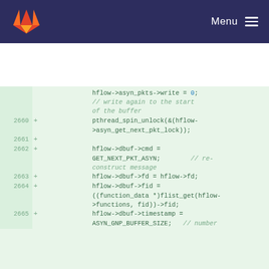GitLab — Menu
[Figure (screenshot): Code diff viewer showing lines 2660-2665 with added lines (+) in a C source file. Lines include pthread_spin_unlock, hflow->dbuf->cmd = GET_NEXT_PKT_ASYN, hflow->dbuf->fd = hflow->fd, hflow->dbuf->fid = ((function_data *)flist_get(hflow->functions, fid))->fid, and hflow->dbuf->timestamp = ASYN_GNP_BUFFER_SIZE.]